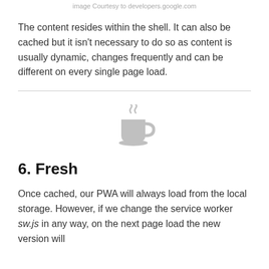image Courtesy to developers.google.com
The content resides within the shell. It can also be cached but it isn't necessary to do so as content is usually dynamic, changes frequently and can be different on every single page load.
[Figure (illustration): A grey coffee cup icon with steam rising from it, centered on the page.]
6. Fresh
Once cached, our PWA will always load from the local storage. However, if we change the service worker sw.js in any way, on the next page load the new version will